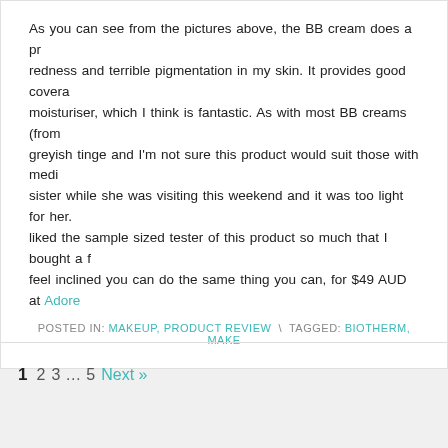As you can see from the pictures above, the BB cream does a pretty good job of hiding the redness and terrible pigmentation in my skin. It provides good coverage but feels light like a moisturiser, which I think is fantastic. As with most BB creams (from my experience) there is a greyish tinge and I'm not sure this product would suit those with medium-dark skin tones. My sister while she was visiting this weekend and it was too light for her. Saying that, I really liked the sample sized tester of this product so much that I bought a full-sized one and if you feel inclined you can do the same thing you can, for $49 AUD at Adore...
POSTED IN: MAKEUP, PRODUCT REVIEW  \  TAGGED: BIOTHERM, MAKE...
1  2  3  ...  5  Next »